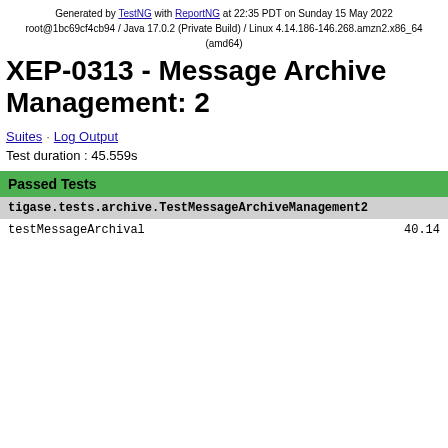Generated by TestNG with ReportNG at 22:35 PDT on Sunday 15 May 2022
root@1bc69cf4cb94 / Java 17.0.2 (Private Build) / Linux 4.14.186-146.268.amzn2.x86_64 (amd64)
XEP-0313 - Message Archive Management: 2
Suites · Log Output
Test duration : 45.559s
| Passed Tests |  |
| --- | --- |
| tigase.tests.archive.TestMessageArchiveManagement2 |  |
| testMessageArchival | 40.14 |